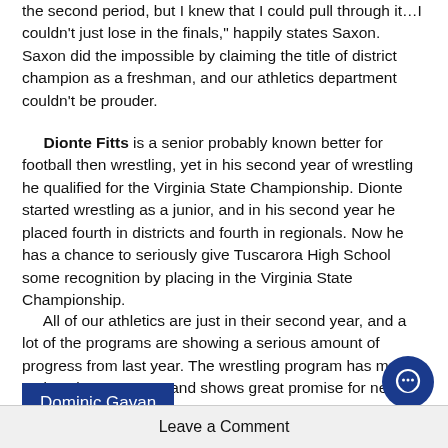the second period, but I knew that I could pull through it...I couldn't just lose in the finals," happily states Saxon. Saxon did the impossible by claiming the title of district champion as a freshman, and our athletics department couldn't be prouder.
Dionte Fitts is a senior probably known better for football then wrestling, yet in his second year of wrestling he qualified for the Virginia State Championship. Dionte started wrestling as a junior, and in his second year he placed fourth in districts and fourth in regionals. Now he has a chance to seriously give Tuscarora High School some recognition by placing in the Virginia State Championship.
All of our athletics are just in their second year, and a lot of the programs are showing a serious amount of progress from last year. The wrestling program has made serious improvement and shows great promise for next year.
Dominic Gavan
Leave a Comment